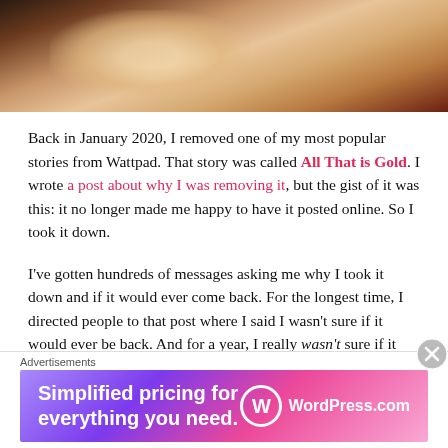[Figure (photo): Close-up photo of a person's skin/shoulder area, warm tones, partial view of dark hair on right side]
Back in January 2020, I removed one of my most popular stories from Wattpad. That story was called All That is Gold. I wrote a post about why I was removing it, but the gist of it was this: it no longer made me happy to have it posted online. So I took it down.
I've gotten hundreds of messages asking me why I took it down and if it would ever come back. For the longest time, I directed people to that post where I said I wasn't sure if it would ever be back. And for a year, I really wasn't sure if it would ever return to the internet. I didn't want to open the document. I didn't want to go back to that world. For an entire year, I wanted nothing to
Advertisements
[Figure (screenshot): WordPress.com advertisement banner: 'Simplified pricing for everything you need.' with WordPress.com logo on purple-pink gradient background]